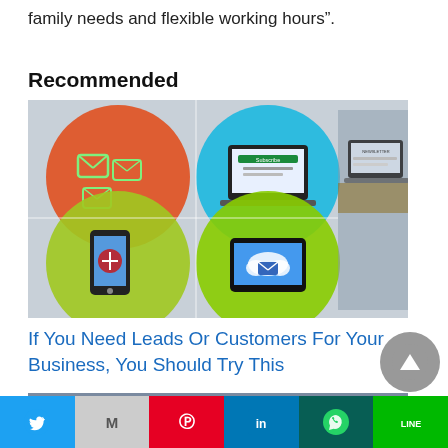family needs and flexible working hours”.
Recommended
[Figure (photo): Collage of digital marketing / newsletter icons and a laptop showing a newsletter website on a desk.]
If You Need Leads Or Customers For Your Business, You Should Try This
[Figure (photo): Dark laptop screen with a 5-minute timer graphic on it, blurred background.]
Social share bar: Twitter, Gmail, Pinterest, LinkedIn, WhatsApp, LINE